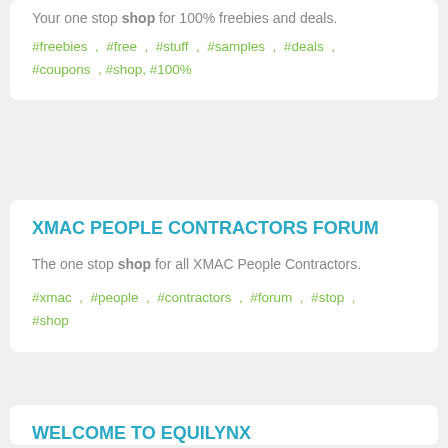Your one stop shop for 100% freebies and deals.
#freebies , #free , #stuff , #samples , #deals , #coupons , #shop, #100%
XMAC PEOPLE CONTRACTORS FORUM
The one stop shop for all XMAC People Contractors.
#xmac , #people , #contractors , #forum , #stop , #shop
WELCOME TO EQUILYNX
Free forum :For horsey people to chat, help and advise each other and shear photos
#equilynx , #chat , #horses , #horse , #wirral , #help , #tack , #shop, #feed , #store , #equine , #forums , #welsh , #pony , #mountain , #warm , #blood ,